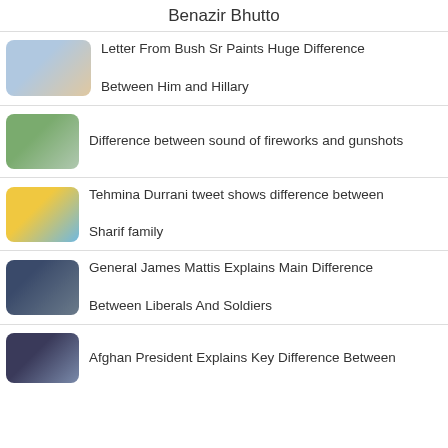Benazir Bhutto
Letter From Bush Sr Paints Huge Difference Between Him and Hillary
Difference between sound of fireworks and gunshots
Tehmina Durrani tweet shows difference between Sharif family
General James Mattis Explains Main Difference Between Liberals And Soldiers
Afghan President Explains Key Difference Between